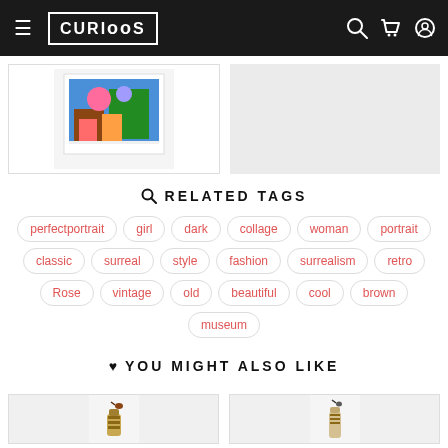CURIOOS navigation bar with hamburger menu, logo, search, cart, and account icons
[Figure (photo): Two product image cards at top - left shows colorful artwork print, right shows gray placeholder]
RELATED TAGS
perfectportrait
girl
dark
collage
woman
portrait
classic
surreal
style
fashion
surrealism
retro
Rose
vintage
old
beautiful
cool
brown
museum
YOU MIGHT ALSO LIKE
[Figure (photo): Two product image cards at bottom - left shows decorative bottle print with bird, right shows figure print with bird]